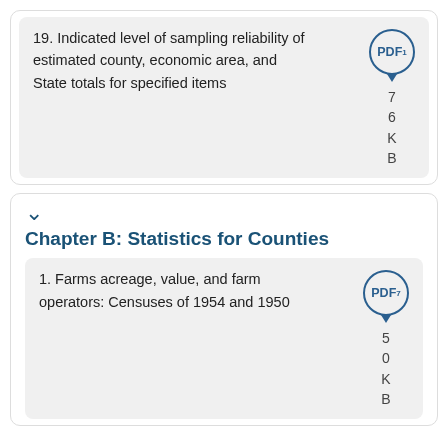19. Indicated level of sampling reliability of estimated county, economic area, and State totals for specified items
PDF 76KB
Chapter B: Statistics for Counties
1. Farms acreage, value, and farm operators: Censuses of 1954 and 1950
PDF 50KB